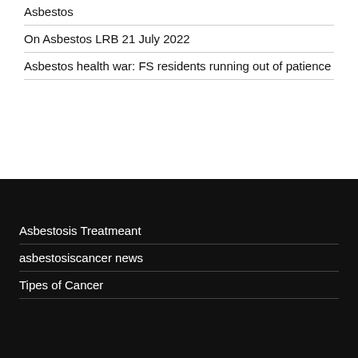Asbestos
On Asbestos LRB 21 July 2022
Asbestos health war: FS residents running out of patience
Asbestosis Treatmeant
asbestosiscancer news
Tipes of Cancer